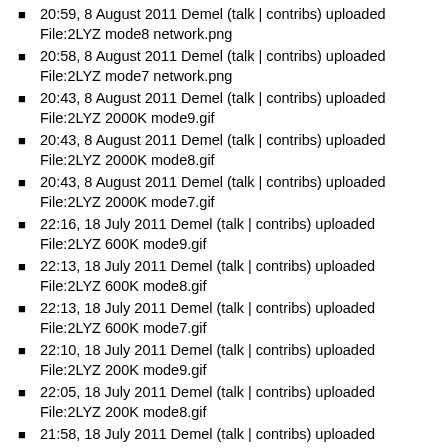20:59, 8 August 2011 Demel (talk | contribs) uploaded File:2LYZ mode8 network.png
20:58, 8 August 2011 Demel (talk | contribs) uploaded File:2LYZ mode7 network.png
20:43, 8 August 2011 Demel (talk | contribs) uploaded File:2LYZ 2000K mode9.gif
20:43, 8 August 2011 Demel (talk | contribs) uploaded File:2LYZ 2000K mode8.gif
20:43, 8 August 2011 Demel (talk | contribs) uploaded File:2LYZ 2000K mode7.gif
22:16, 18 July 2011 Demel (talk | contribs) uploaded File:2LYZ 600K mode9.gif
22:13, 18 July 2011 Demel (talk | contribs) uploaded File:2LYZ 600K mode8.gif
22:13, 18 July 2011 Demel (talk | contribs) uploaded File:2LYZ 600K mode7.gif
22:10, 18 July 2011 Demel (talk | contribs) uploaded File:2LYZ 200K mode9.gif
22:05, 18 July 2011 Demel (talk | contribs) uploaded File:2LYZ 200K mode8.gif
21:58, 18 July 2011 Demel (talk | contribs) uploaded File:2LYZ 200K mode7.gif
20:45, 18 July 2011 Demel (talk | contribs) uploaded File:BCKDHA Mode11 network.png
20:42, 18 July 2011 Demel (talk | contribs) uploaded